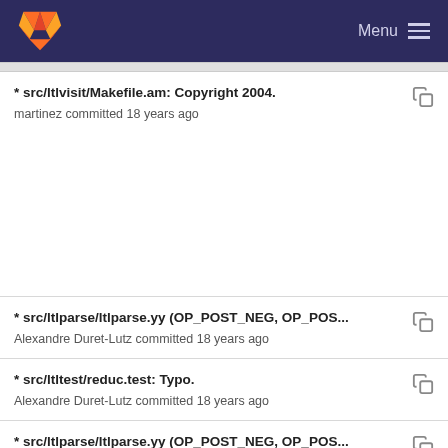Menu
* src/ltlvisit/Makefile.am: Copyright 2004.
martinez committed 18 years ago
* src/ltlparse/ltlparse.yy (OP_POST_NEG, OP_POS...
Alexandre Duret-Lutz committed 18 years ago
* src/ltltest/reduc.test: Typo.
Alexandre Duret-Lutz committed 18 years ago
* src/ltlparse/ltlparse.yy (OP_POST_NEG, OP_POS...
Alexandre Duret-Lutz committed 18 years ago